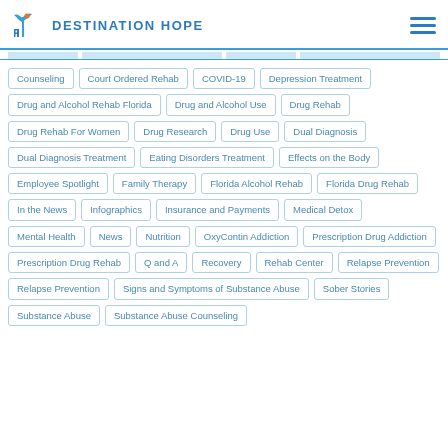DESTINATION HOPE
Counseling
Court Ordered Rehab
COVID-19
Depression Treatment
Drug and Alcohol Rehab Florida
Drug and Alcohol Use
Drug Rehab
Drug Rehab For Women
Drug Research
Drug Use
Dual Diagnosis
Dual Diagnosis Treatment
Eating Disorders Treatment
Effects on the Body
Employee Spotlight
Family Therapy
Florida Alcohol Rehab
Florida Drug Rehab
In the News
Infographics
Insurance and Payments
Medical Detox
Mental Health
News
Nutrition
OxyContin Addiction
Prescription Drug Addiction
Prescription Drug Rehab
Q and A
Recovery
Rehab Center
Relapse Prevention
Relapse Prevention
Signs and Symptoms of Substance Abuse
Sober Stories
Substance Abuse
Substance Abuse Counseling